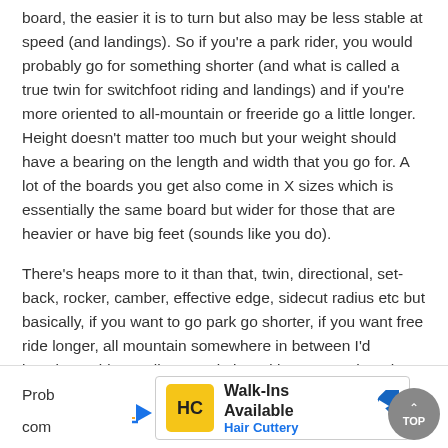board, the easier it is to turn but also may be less stable at speed (and landings). So if you're a park rider, you would probably go for something shorter (and what is called a true twin for switchfoot riding and landings) and if you're more oriented to all-mountain or freeride go a little longer. Height doesn't matter too much but your weight should have a bearing on the length and width that you go for. A lot of the boards you get also come in X sizes which is essentially the same board but wider for those that are heavier or have big feet (sounds like you do).
There's heaps more to it than that, twin, directional, set-back, rocker, camber, effective edge, sidecut radius etc but basically, if you want to go park go shorter, if you want free ride longer, all mountain somewhere in between I'd imagine. I ride an all mountain board because I shun the park and my little bunny hops are just embarassing, but I do like to go fast, I love powder and I love to carve which my new sled seems to serve me well.
[Figure (other): Advertisement banner for Hair Cuttery - Walk-Ins Available, with HC logo in yellow square, blue navigation arrow icon, and a TOP scroll button]